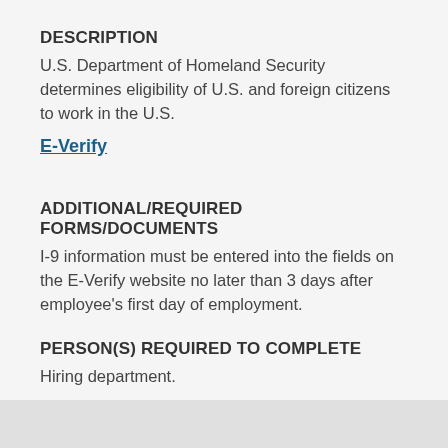DESCRIPTION
U.S. Department of Homeland Security determines eligibility of U.S. and foreign citizens to work in the U.S.
E-Verify
ADDITIONAL/REQUIRED FORMS/DOCUMENTS
I-9 information must be entered into the fields on the E-Verify website no later than 3 days after employee's first day of employment.
PERSON(S) REQUIRED TO COMPLETE
Hiring department.